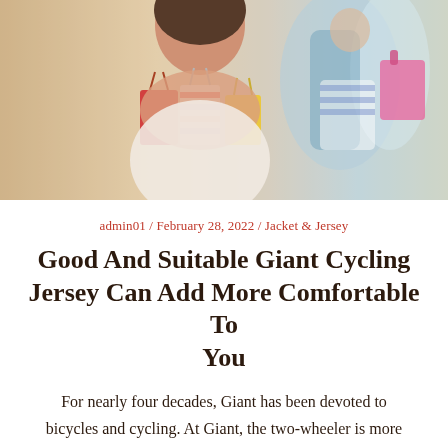[Figure (photo): Photo of women holding colorful shopping bags outdoors]
admin01 / February 28, 2022 / Jacket & Jersey
Good And Suitable Giant Cycling Jersey Can Add More Comfortable To You
For nearly four decades, Giant has been devoted to bicycles and cycling. At Giant, the two-wheeler is more than just... Read Article →
[Figure (photo): Partial bottom photo]